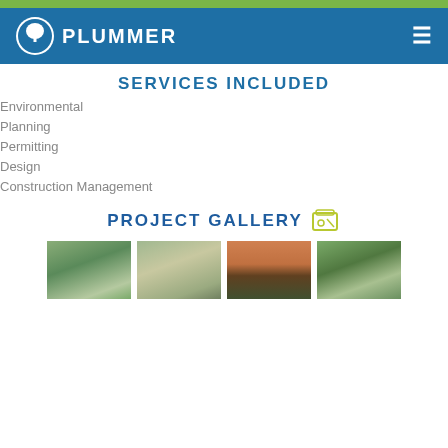Plummer
SERVICES INCLUDED
Environmental
Planning
Permitting
Design
Construction Management
PROJECT GALLERY
[Figure (photo): Aerial view of green wetland/drainage channels]
[Figure (photo): Aerial view of green fields and roads]
[Figure (photo): Orange-hued aerial view of water and vegetation at dusk]
[Figure (photo): Aerial view of green landscape with road or levee]